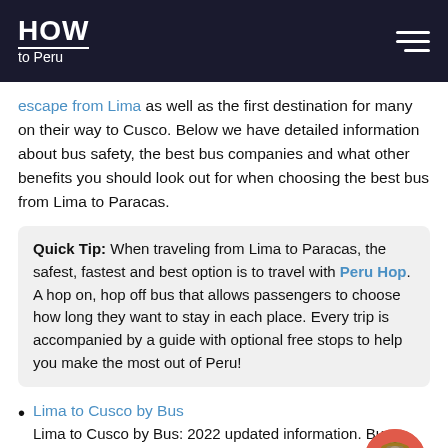HOW to Peru
escape from Lima as well as the first destination for many on their way to Cusco. Below we have detailed information about bus safety, the best bus companies and what other benefits you should look out for when choosing the best bus from Lima to Paracas.
Quick Tip: When traveling from Lima to Paracas, the safest, fastest and best option is to travel with Peru Hop. A hop on, hop off bus that allows passengers to choose how long they want to stay in each place. Every trip is accompanied by a guide with optional free stops to help you make the most out of Peru!
Lima to Cusco by Bus
Lima to Cusco by Bus: 2022 updated information. Bus Schedules, Bus Safety, and the Best Bus Companies to take!